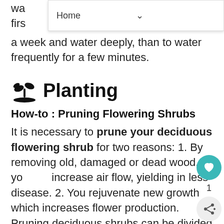wa...le firs...e a week and water deeply, than to water frequently for a few minutes.
🌱 Planting
How-to : Pruning Flowering Shrubs
It is necessary to prune your deciduous flowering shrub for two reasons: 1. By removing old, damaged or dead wood, you increase air flow, yielding in less disease. 2. You rejuvenate new growth which increases flower production.
Pruning deciduous shrubs can be divided